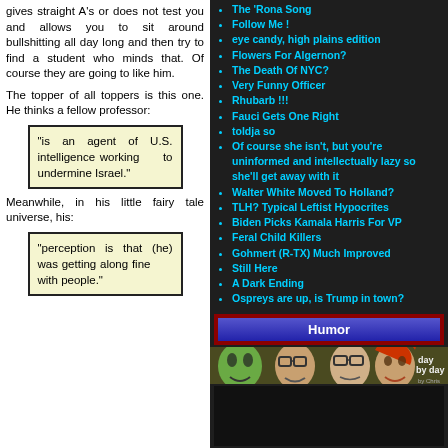gives straight A's or does not test you and allows you to sit around bullshitting all day long and then try to find a student who minds that. Of course they are going to like him.
The topper of all toppers is this one. He thinks a fellow professor:
“is an agent of U.S. intelligence working to undermine Israel.”
Meanwhile, in his little fairy tale universe, his:
“perception is that (he) was getting along fine with people.”
The ‘Rona Song
Follow Me !
eye candy, high plains edition
Flowers For Algernon?
The Death Of NYC?
Very Funny Officer
Rhubarb !!!
Fauci Gets One Right
toldja so
Of course she isn't, but you're uninformed and intellectually lazy so she'll get away with it
Walter White Moved To Holland?
TLH? Typical Leftist Hypocrites
Biden Picks Kamala Harris For VP
Feral Child Killers
Gohmert (R-TX) Much Improved
Still Here
A Dark Ending
Ospreys are up, is Trump in town?
Humor
[Figure (illustration): Comic strip banner showing cartoon faces: day by day by Chris Muir]